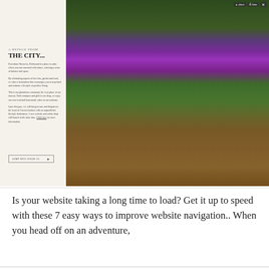[Figure (screenshot): Screenshot of a webpage for Petersham Nurseries Richmond with a lush garden restaurant photo showing tables with red cushion chairs under purple bougainvillea flowers and green foliage. Left panel has a cream/beige background with text and a title 'A REFUGE FROM THE CITY...']
A REFUGE FROM
THE CITY...
Petersham Nurseries, Richmond is a place to calm where you can surround with nature, restoring a sense of balance and space.
By celebrating aspects of the trine, garden and food, we offer a destination that encourages you to stop back and embrace a lifestyle of positive living.
This is our glasshouse restaurant, the very place of our nursery. Find comiques and girls in our shop, or enjoy our own food and homemade cakes in our teahouse.
Later this june, we will bring terrace and disputes to the heart of Cavent Gardens with an unparalleled lifestyle destination. A new website and online shop will launch at the same time. Click here for more information.
Is your website taking a long time to load? Get it up to speed with these 7 easy ways to improve website navigation.. When you head off on an adventure,